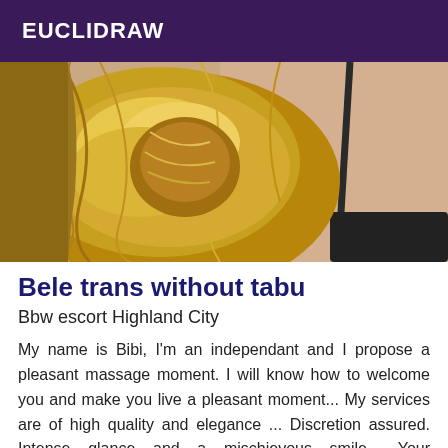EUCLIDRAW
[Figure (photo): Close-up photo of a blonde woman with hair pinned up, wearing a black strap top, showing neck and shoulder area]
Bele trans without tabu
Bbw escort Highland City
My name is Bibi, I'm an independant and I propose a pleasant massage moment. I will know how to welcome you and make you live a pleasant moment... My services are of high quality and elegance ... Discretion assured. Intense glance and a mischievous smile... Your satisfaction is very important to me, I do everything I can